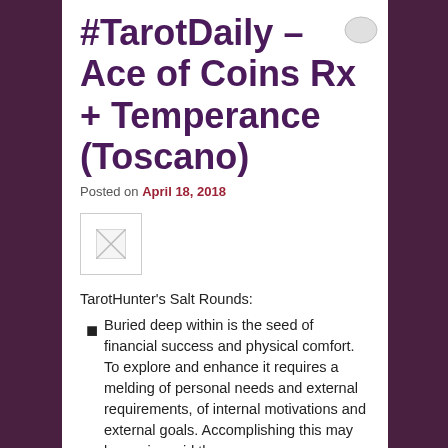#TarotDaily – Ace of Coins Rx + Temperance (Toscano)
Posted on April 18, 2018
[Figure (photo): Broken/missing image placeholder thumbnail]
TarotHunter's Salt Rounds:
Buried deep within is the seed of financial success and physical comfort. To explore and enhance it requires a melding of personal needs and external requirements, of internal motivations and external goals. Accomplishing this may be easier said than